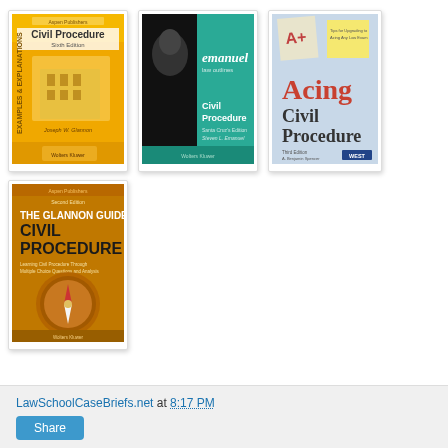[Figure (photo): Book cover: Examples & Explanations Civil Procedure, Sixth Edition, Joseph W. Glannon, Wolters Kluwer]
[Figure (photo): Book cover: Emanuel Law Outlines Civil Procedure, Santa Cruz's Edition, Steven L. Emanuel, Wolters Kluwer]
[Figure (photo): Book cover: Acing Civil Procedure, Third Edition, A. Benjamin Spencer, West]
[Figure (photo): Book cover: The Glannon Guide to Civil Procedure, Second Edition, Learning Civil Procedure Through Multiple Choice Questions and Analysis, Joseph W. Glannon, Wolters Kluwer]
LawSchoolCaseBriefs.net at 8:17 PM
Share